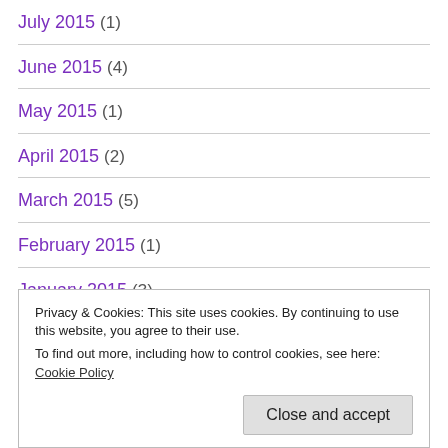July 2015 (1)
June 2015 (4)
May 2015 (1)
April 2015 (2)
March 2015 (5)
February 2015 (1)
January 2015 (3)
November 2014 (5)
October 2014 (9)
Privacy & Cookies: This site uses cookies. By continuing to use this website, you agree to their use.
To find out more, including how to control cookies, see here: Cookie Policy
June 2014 (6)